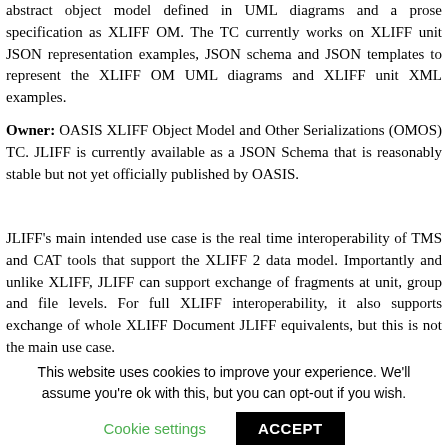abstract object model defined in UML diagrams and a prose specification as XLIFF OM. The TC currently works on XLIFF unit JSON representation examples, JSON schema and JSON templates to represent the XLIFF OM UML diagrams and XLIFF unit XML examples.
Owner: OASIS XLIFF Object Model and Other Serializations (OMOS) TC. JLIFF is currently available as a JSON Schema that is reasonably stable but not yet officially published by OASIS.
JLIFF's main intended use case is the real time interoperability of TMS and CAT tools that support the XLIFF 2 data model. Importantly and unlike XLIFF, JLIFF can support exchange of fragments at unit, group and file levels. For full XLIFF interoperability, it also supports exchange of whole XLIFF Document JLIFF equivalents, but this is not the main use case.
This website uses cookies to improve your experience. We'll assume you're ok with this, but you can opt-out if you wish.
Cookie settings   ACCEPT